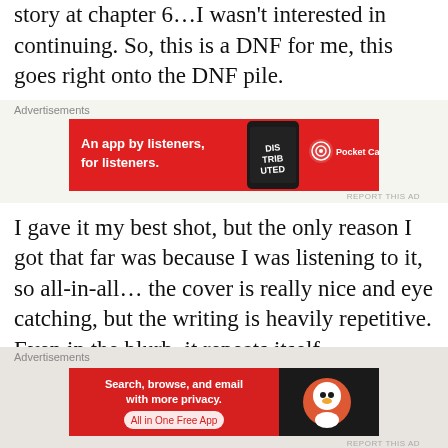story at chapter 6…I wasn't interested in continuing. So, this is a DNF for me, this goes right onto the DNF pile.
[Figure (screenshot): Pocket Casts advertisement banner: red background with text 'An app by listeners, for listeners.' and a phone showing 'Distributed' podcast logo, Pocket Casts logo on right]
I gave it my best shot, but the only reason I got that far was because I was listening to it, so all-in-all… the cover is really nice and eye catching, but the writing is heavily repetitive. Even in the blurb, it repeats itself.
Thank you for reading my review.
[Figure (screenshot): DuckDuckGo advertisement banner: 'Search, browse, and email with more privacy. All in One Free App' with DuckDuckGo logo]